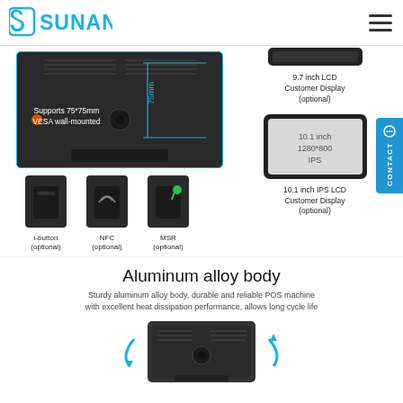[Figure (logo): SUNANY company logo in blue with stylized S icon]
[Figure (photo): Rear of POS device showing 75mm VESA mount dimension and text 'Supports 75*75mm VESA wall-mounted']
[Figure (photo): i-button (optional) accessory module]
i-button
(optional)
[Figure (photo): NFC (optional) accessory module]
NFC
(optional)
[Figure (photo): MSR (optional) accessory module with green key]
MSR
(optional)
[Figure (photo): 9.7 inch LCD Customer Display (optional) - top portion visible]
9.7 inch LCD
Customer Display
(optional)
[Figure (photo): 10.1 inch IPS LCD Customer Display showing specs: 10.1 inch, 1280*800, IPS]
10.1 inch IPS LCD
Customer Display
(optional)
Aluminum alloy body
Sturdy aluminum alloy body, durable and reliable POS machine with excellent heat dissipation performance, allows long cycle life
[Figure (photo): Rear view of aluminum alloy POS machine body with blue directional arrows]